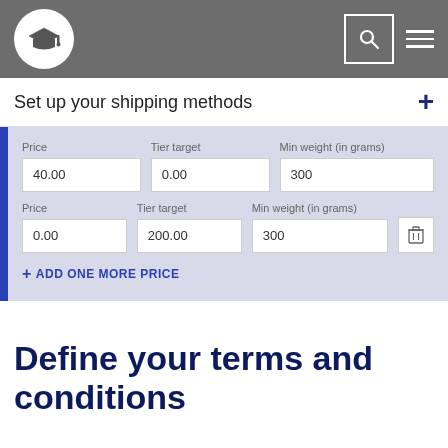Navigation header with logo, search, and menu
Set up your shipping methods
[Figure (screenshot): Shipping method form with two price rows. First row: Price=40.00, Tier target=0.00, Min weight (in grams)=300. Second row: Price=0.00, Tier target=200.00, Min weight (in grams)=300 with delete button. Add one more price link at bottom.]
Define your terms and conditions